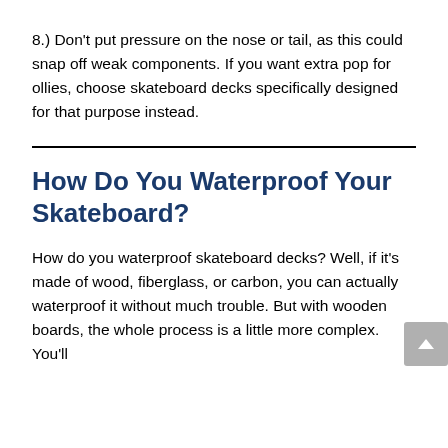8.) Don't put pressure on the nose or tail, as this could snap off weak components. If you want extra pop for ollies, choose skateboard decks specifically designed for that purpose instead.
How Do You Waterproof Your Skateboard?
How do you waterproof skateboard decks? Well, if it's made of wood, fiberglass, or carbon, you can actually waterproof it without much trouble. But with wooden boards, the whole process is a little more complex. You'll